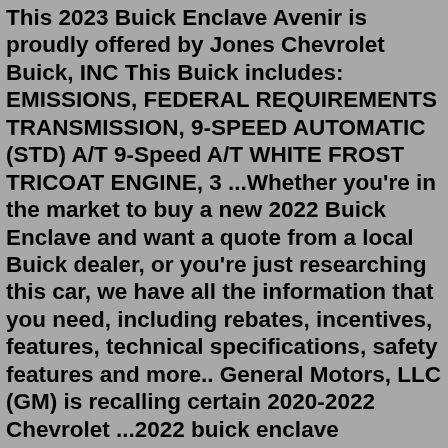This 2023 Buick Enclave Avenir is proudly offered by Jones Chevrolet Buick, INC This Buick includes: EMISSIONS, FEDERAL REQUIREMENTS TRANSMISSION, 9-SPEED AUTOMATIC (STD) A/T 9-Speed A/T WHITE FROST TRICOAT ENGINE, 3 ...Whether you're in the market to buy a new 2022 Buick Enclave and want a quote from a local Buick dealer, or you're just researching this car, we have all the information that you need, including rebates, incentives, features, technical specifications, safety features and more.. General Motors, LLC (GM) is recalling certain 2020-2022 Chevrolet ...2022 buick enclave information, specs, reviews, ratings, and cars for sale on Autos Marketplace on Autos Marketplace. See the latest reviews, ratings, photos, specs, information, pricing, cars for ...2020 Buick Enclave Rear Splash Guard in Satin Steel Metallic GM OEM NEW 84605070. $90.00. $15.00 shipping. or Best Offer. 2020-21 Enclave Avenir Molded Assist Steps in Ebony GM OEM NEW 84604580 (Fits: Buick Enclave) $824.99. Free shipping. 2020-21 Buick